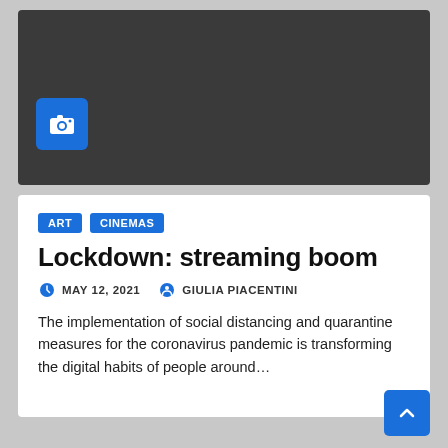[Figure (photo): Dark gray placeholder image area with a blue camera icon button in the lower left]
ART   CINEMAS
Lockdown: streaming boom
MAY 12, 2021   GIULIA PIACENTINI
The implementation of social distancing and quarantine measures for the coronavirus pandemic is transforming the digital habits of people around…